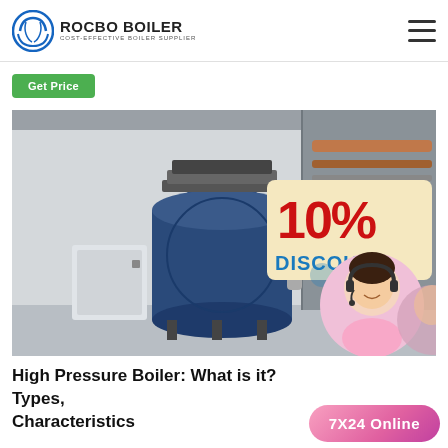ROCBO BOILER — COST-EFFECTIVE BOILER SUPPLIER
Get Price
[Figure (photo): Industrial boiler installation in a factory — large blue cylindrical boiler with piping and control cabinet, overlaid with '10% DISCOUNT' badge and customer service representative photo]
High Pressure Boiler: What is it? Types, Characteristics
7X24 Online